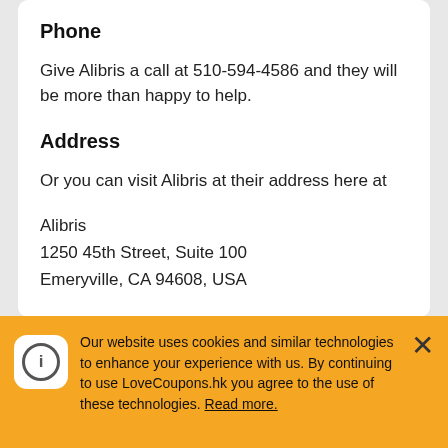Phone
Give Alibris a call at 510-594-4586 and they will be more than happy to help.
Address
Or you can visit Alibris at their address here at
Alibris
1250 45th Street, Suite 100
Emeryville, CA 94608, USA
Alibris Opening Times
Alibris operate online, that the...
Our website uses cookies and similar technologies to enhance your experience with us. By continuing to use LoveCoupons.hk you agree to the use of these technologies. Read more.